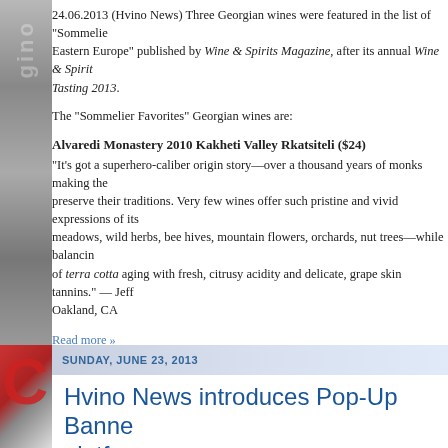24.06.2013 (Hvino News) Three Georgian wines were featured in the list of "Sommelier Favorites from Eastern Europe" published by Wine & Spirits Magazine, after its annual Wine & Spirits Tasting 2013.
The "Sommelier Favorites" Georgian wines are:
Alvaredi Monastery 2010 Kakheti Valley Rkatsiteli ($24)
"It's got a superhero-caliber origin story—over a thousand years of monks making the wine to preserve their traditions. Very few wines offer such pristine and vivid expressions of its meadows, wild herbs, bee hives, mountain flowers, orchards, nut trees—while balancing of terra cotta aging with fresh, citrusy acidity and delicate, grape skin tannins." — Jeff Oakland, CA
Read more »
0 comments
SUNDAY, JUNE 23, 2013
Hvino News introduces Pop-Up Banner platform
23.06.2013. Since June 2013 all Hvino sites are offering Pop-Up Banners as the new and effective, yet non-obstructive advertising method.